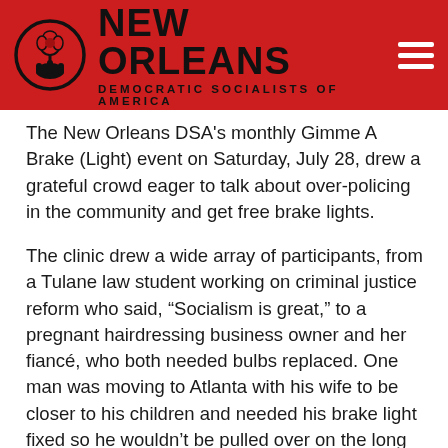NEW ORLEANS DEMOCRATIC SOCIALISTS OF AMERICA
The New Orleans DSA's monthly Gimme A Brake (Light) event on Saturday, July 28, drew a grateful crowd eager to talk about over-policing in the community and get free brake lights.
The clinic drew a wide array of participants, from a Tulane law student working on criminal justice reform who said, “Socialism is great,” to a pregnant hairdressing business owner and her fiancé, who both needed bulbs replaced. One man was moving to Atlanta with his wife to be closer to his children and needed his brake light fixed so he wouldn’t be pulled over on the long drive.